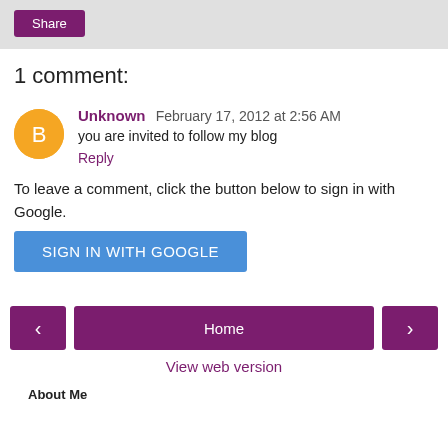Share
1 comment:
Unknown February 17, 2012 at 2:56 AM
you are invited to follow my blog
Reply
To leave a comment, click the button below to sign in with Google.
SIGN IN WITH GOOGLE
< Home > View web version
About Me